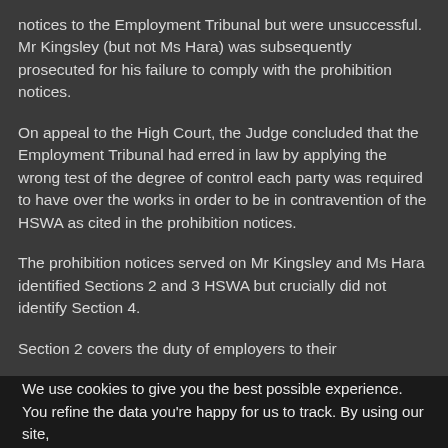notices to the Employment Tribunal but were unsuccessful. Mr Kingsley (but not Ms Hara) was subsequently prosecuted for his failure to comply with the prohibition notices.
On appeal to the High Court, the Judge concluded that the Employment Tribunal had erred in law by applying the wrong test of the degree of control each party was required to have over the works in order to be in contravention of the HSWA as cited in the prohibition notices.
The prohibition notices served on Mr Kingsley and Ms Hara identified Sections 2 and 3 HSWA but crucially did not identify Section 4.
Section 2 covers the duty of employers to their
We use cookies to give you the best possible experience. You refine the data you're happy for us to track. By using our site,